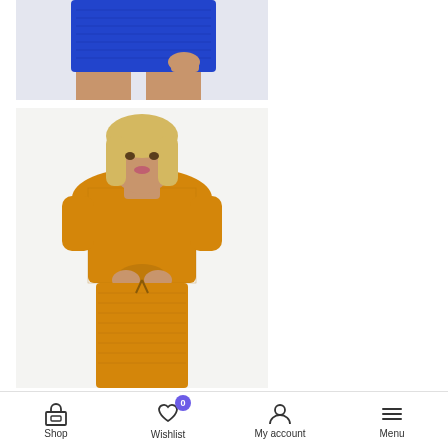[Figure (photo): Top portion of a fashion product photo showing blue textured bike shorts worn by a model, cropped at thigh level with hand visible]
[Figure (photo): Fashion product photo of a blonde woman wearing a mustard/golden yellow textured ruched crop top with short sleeves and matching shorts, standing against a light background]
Shop  Wishlist 0  My account  Menu